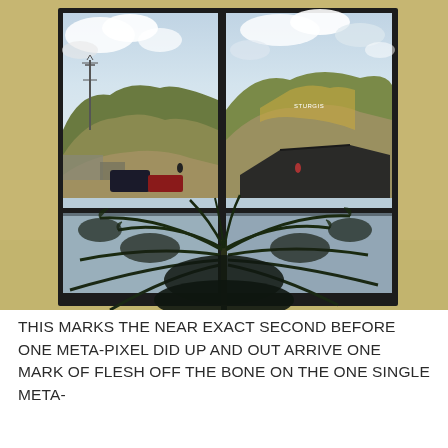[Figure (photo): A photograph taken from inside a building looking through a large black-framed window divided into upper and lower panes with a vertical center divider. Through the window, hills covered with sparse trees and scrubby vegetation are visible under a partly cloudy sky. A communication tower is visible on the left. In the foreground inside the room, a large potted palm-like plant sits in front of the lower portion of the window. The interior walls are painted a warm yellow-tan color.]
THIS MARKS THE NEAR EXACT SECOND BEFORE ONE META-PIXEL DID UP AND OUT ARRIVE ONE MARK OF FLESH OFF THE BONE ON THE ONE SINGLE META-